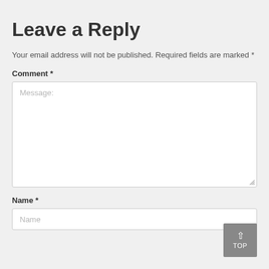Leave a Reply
Your email address will not be published. Required fields are marked *
Comment *
[Figure (screenshot): Comment text area input field with placeholder text 'Message:']
Name *
[Figure (screenshot): Name input field with placeholder text 'Name']
[Figure (other): TOP button - a dark gray button with an upward arrow and 'TOP' text, positioned at bottom right]